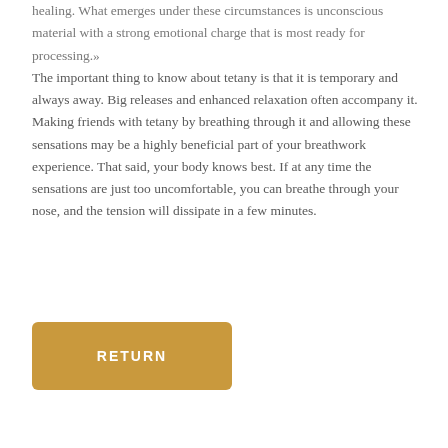healing. What emerges under these circumstances is unconscious material with a strong emotional charge that is most ready for processing.»
The important thing to know about tetany is that it is temporary and always away. Big releases and enhanced relaxation often accompany it. Making friends with tetany by breathing through it and allowing these sensations may be a highly beneficial part of your breathwork experience. That said, your body knows best. If at any time the sensations are just too uncomfortable, you can breathe through your nose, and the tension will dissipate in a few minutes.
RETURN